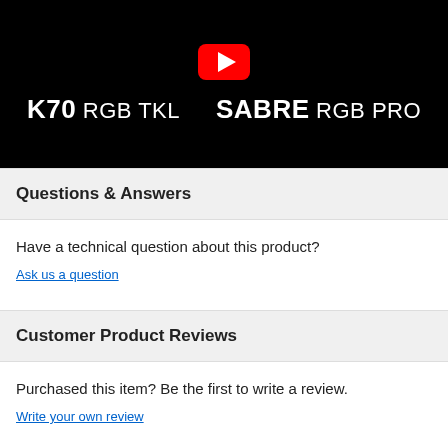[Figure (screenshot): YouTube video thumbnail showing a dark background with 'K70 RGB TKL' and 'SABRE RGB PRO' product names, with a YouTube play button icon at the top center and a partially visible product image in the upper right corner.]
Questions & Answers
Have a technical question about this product?
Ask us a question
Customer Product Reviews
Purchased this item? Be the first to write a review.
Write your own review